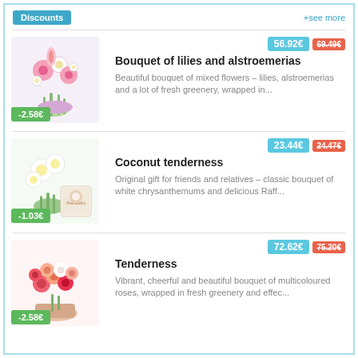Discounts | +see more
[Figure (photo): Bouquet of lilies and alstroemerias with pink and white flowers and greenery, discount tag -2.58€]
56.92€ 69.49€
Bouquet of lilies and alstroemerias
Beautiful bouquet of mixed flowers – lilies, alstroemerias and a lot of fresh greenery, wrapped in...
[Figure (photo): Coconut tenderness bouquet of white chrysanthemums with Raffaello box, discount tag -1.03€]
23.44€ 24.47€
Coconut tenderness
Original gift for friends and relatives – classic bouquet of white chrysanthemums and delicious Raff...
[Figure (photo): Tenderness bouquet of multicoloured roses, discount tag -2.58€]
72.62€ 75.20€
Tenderness
Vibrant, cheerful and beautiful bouquet of multicoloured roses, wrapped in fresh greenery and effec...